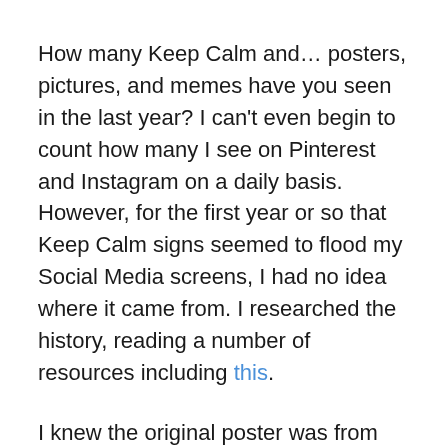How many Keep Calm and… posters, pictures, and memes have you seen in the last year? I can't even begin to count how many I see on Pinterest and Instagram on a daily basis. However, for the first year or so that Keep Calm signs seemed to flood my Social Media screens, I had no idea where it came from. I researched the history, reading a number of resources including this.
I knew the original poster was from English during World War II, but I just recently learned that the Keep Calm and Carry On poster was the third in the series and was never actually used. The originals were found many years later (60!) at an auction. After multiple reproductions of the original gained popularity, it was only a matter of time before modern techies took the idea and morphed it into something funny and annoying and trivial and all over the